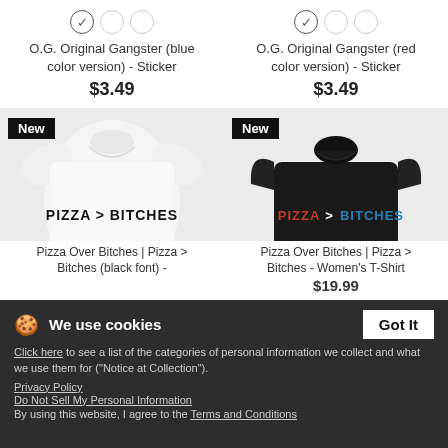[Figure (screenshot): Product listing page showing two sticker products and two t-shirt products with cookie consent banner overlay]
O.G. Original Gangster (blue color version) - Sticker $3.49
O.G. Original Gangster (red color version) - Sticker $3.49
[Figure (photo): White t-shirt with 'PIZZA > BITCHES' text in black, labeled New]
[Figure (photo): Black women's t-shirt with 'PIZZA > BITCHES' text in red and blue, labeled New]
Pizza Over Bitches | Pizza > Bitches (black font) -
Pizza Over Bitches | Pizza > Bitches - Women's T-Shirt $19.99
We use cookies
Click here to see a list of the categories of personal information we collect and what we use them for ("Notice at Collection").
Privacy Policy
Do Not Sell My Personal Information
By using this website, I agree to the Terms and Conditions